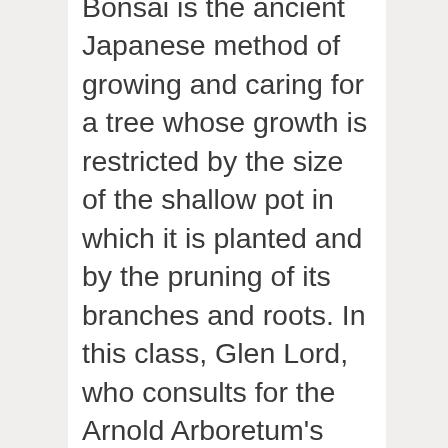Bonsai is the ancient Japanese method of growing and caring for a tree whose growth is restricted by the size of the shallow pot in which it is planted and by the pruning of its branches and roots. In this class, Glen Lord, who consults for the Arnold Arboretum’s bonsai (Japanese) and penjing (Chinese) collection of dwarf potted plants, will speak first about the history of bonsai. He will then demonstrate the methods employed in creating and caring for a bonsai. Participants will plant a tropical specimen and learn about basic pruning, styling